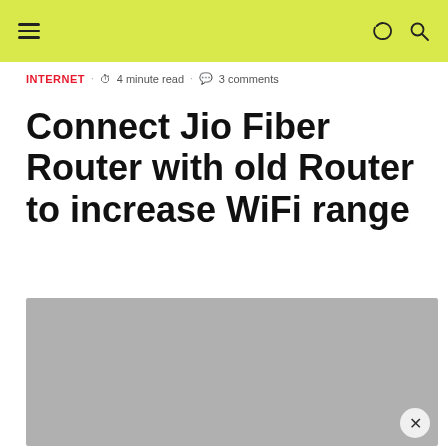≡  [moon icon] [search icon]
INTERNET · ⏱ 4 minute read · 💬 3 comments
Connect Jio Fiber Router with old Router to increase WiFi range
[Figure (photo): Gray placeholder image block with an X close button in the bottom right corner]